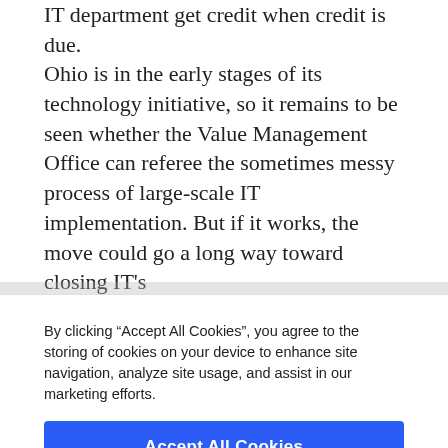IT department get credit when credit is due.
Ohio is in the early stages of its technology initiative, so it remains to be seen whether the Value Management Office can referee the sometimes messy process of large-scale IT implementation. But if it works, the move could go a long way toward closing IT’s credibility
By clicking “Accept All Cookies”, you agree to the storing of cookies on your device to enhance site navigation, analyze site usage, and assist in our marketing efforts.
Accept All Cookies
Reject All
Cookies Settings